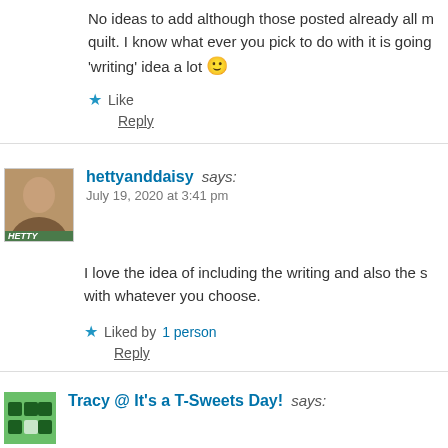No ideas to add although those posted already all m... quilt. I know what ever you pick to do with it is going... 'writing' idea a lot 🙂
★ Like
Reply
hettyanddaisy says: July 19, 2020 at 3:41 pm
I love the idea of including the writing and also the s... with whatever you choose.
★ Liked by 1 person
Reply
Tracy @ It's a T-Sweets Day! says: